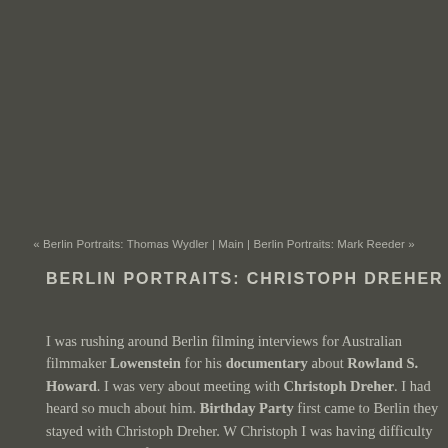« Berlin Portraits: Thomas Wydler | Main | Berlin Portraits: Mark Reeder »
BERLIN PORTRAITS: CHRISTOPH DREHER
I was rushing around Berlin filming interviews for Australian filmmaker Lowenstein for his documentary about Rowland S. Howard. I was very about meeting with Christoph Dreher. I had heard so much about him. Birthday Party first came to Berlin they stayed with Christoph Dreher. W Christoph I was having difficulty because I had to film with two camera any help or assistance. I was all thumbs and a bit awkward, but Christo graciously put up with it all and told some great stories about Nick Cav